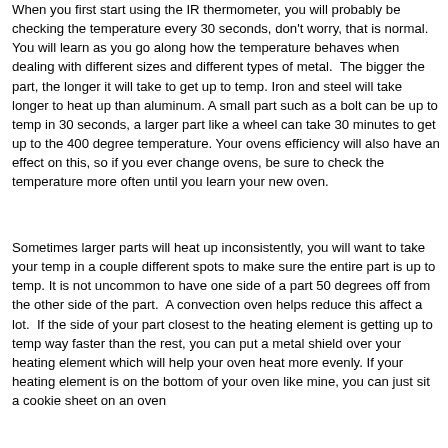When you first start using the IR thermometer, you will probably be checking the temperature every 30 seconds, don't worry, that is normal. You will learn as you go along how the temperature behaves when dealing with different sizes and different types of metal. The bigger the part, the longer it will take to get up to temp. Iron and steel will take longer to heat up than aluminum. A small part such as a bolt can be up to temp in 30 seconds, a larger part like a wheel can take 30 minutes to get up to the 400 degree temperature. Your ovens efficiency will also have an effect on this, so if you ever change ovens, be sure to check the temperature more often until you learn your new oven.
Sometimes larger parts will heat up inconsistently, you will want to take your temp in a couple different spots to make sure the entire part is up to temp. It is not uncommon to have one side of a part 50 degrees off from the other side of the part. A convection oven helps reduce this affect a lot. If the side of your part closest to the heating element is getting up to temp way faster than the rest, you can put a metal shield over your heating element which will help your oven heat more evenly. If your heating element is on the bottom of your oven like mine, you can just sit a cookie sheet on an oven